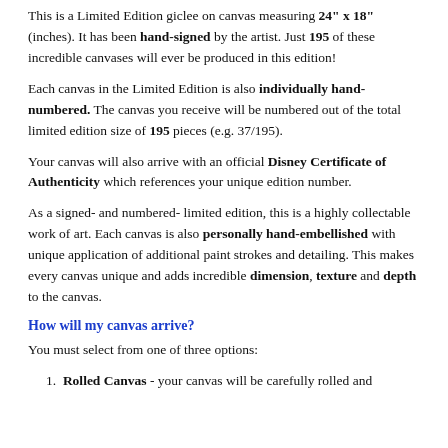This is a Limited Edition giclee on canvas measuring 24" x 18" (inches). It has been hand-signed by the artist. Just 195 of these incredible canvases will ever be produced in this edition!
Each canvas in the Limited Edition is also individually hand-numbered. The canvas you receive will be numbered out of the total limited edition size of 195 pieces (e.g. 37/195).
Your canvas will also arrive with an official Disney Certificate of Authenticity which references your unique edition number.
As a signed- and numbered- limited edition, this is a highly collectable work of art. Each canvas is also personally hand-embellished with unique application of additional paint strokes and detailing. This makes every canvas unique and adds incredible dimension, texture and depth to the canvas.
How will my canvas arrive?
You must select from one of three options:
Rolled Canvas - your canvas will be carefully rolled and